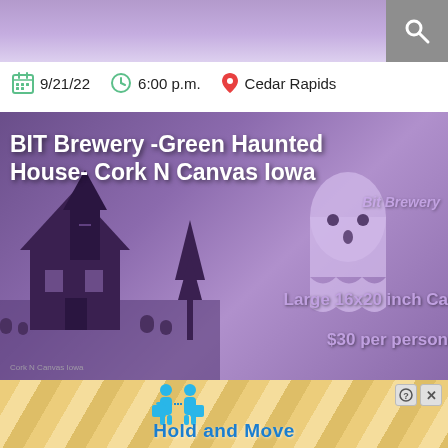[Figure (screenshot): Purple gradient website header bar with a search icon button on the right side]
9/21/22   6:00 p.m.   Cedar Rapids
[Figure (photo): Haunted house themed promotional image for BIT Brewery Green Haunted House Cork N Canvas Iowa event, purple overlay with silhouette haunted house illustration, ghost figure, text showing Large 16x20 inch Ca... $30 per person]
BIT Brewery -Green Haunted House- Cork N Canvas Iowa
[Figure (infographic): Bottom advertisement banner with tan/gold striped background, blue 3D human figures, Hold and Move text in blue, with close and info buttons]